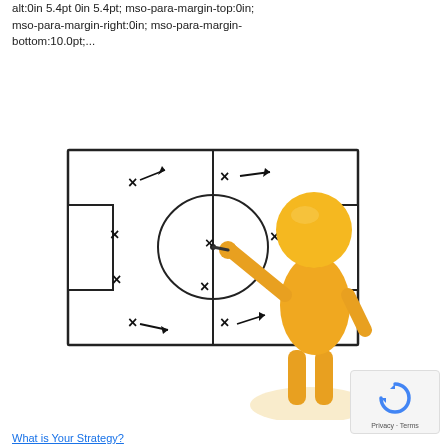alt:0in 5.4pt 0in 5.4pt; mso-para-margin-top:0in; mso-para-margin-right:0in; mso-para-margin-bottom:10.0pt;...
[Figure (illustration): A 3D golden/yellow stick figure person pointing at a whiteboard showing a soccer/football tactical diagram with X markers and arrows indicating player movements and strategies on a drawn pitch.]
What is Your Strategy?